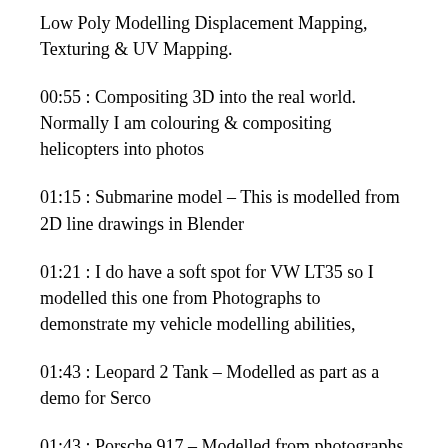Low Poly Modelling Displacement Mapping, Texturing & UV Mapping.
00:55 : Compositing 3D into the real world. Normally I am colouring & compositing helicopters into photos
01:15 : Submarine model – This is modelled from 2D line drawings in Blender
01:21 : I do have a soft spot for VW LT35 so I modelled this one from Photographs to demonstrate my vehicle modelling abilities,
01:43 : Leopard 2 Tank – Modelled as part as a demo for Serco
01:43 : Porsche 917 – Modelled from photographs – I modelled this after watching the film Le'man, it's a